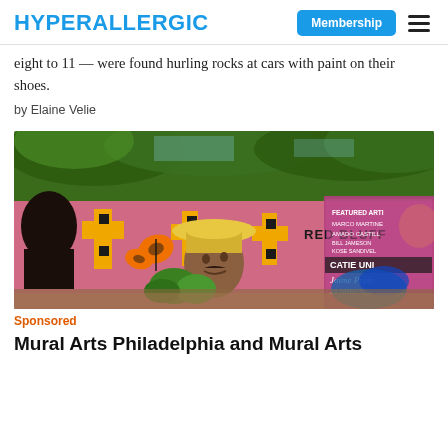HYPERALLERGIC | Membership
eight to 11 — were found hurling rocks at cars with paint on their shoes.
by Elaine Velie
[Figure (photo): Photograph of a colorful outdoor mural called Red Bluff featuring portraits, a monarch butterfly, a man in a yellow hat, and text listing featured artists including Marco Martinez, Amado Castillo, and others.]
Sponsored
Mural Arts Philadelphia and Mural Arts